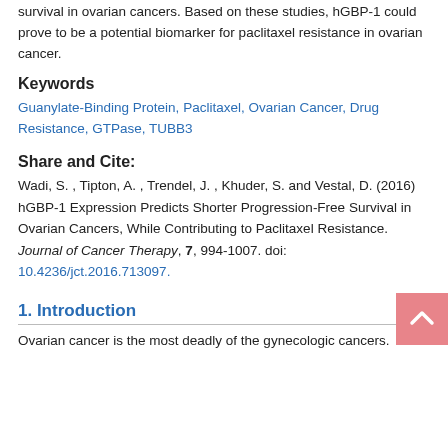survival in ovarian cancers. Based on these studies, hGBP-1 could prove to be a potential biomarker for paclitaxel resistance in ovarian cancer.
Keywords
Guanylate-Binding Protein, Paclitaxel, Ovarian Cancer, Drug Resistance, GTPase, TUBB3
Share and Cite:
Wadi, S. , Tipton, A. , Trendel, J. , Khuder, S. and Vestal, D. (2016) hGBP-1 Expression Predicts Shorter Progression-Free Survival in Ovarian Cancers, While Contributing to Paclitaxel Resistance. Journal of Cancer Therapy, 7, 994-1007. doi: 10.4236/jct.2016.713097.
1. Introduction
Ovarian cancer is the most deadly of the gynecologic cancers.